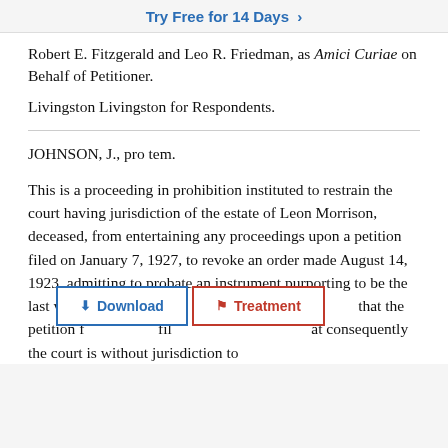Try Free for 14 Days >
Robert E. Fitzgerald and Leo R. Friedman, as Amici Curiae on Behalf of Petitioner.
Livingston Livingston for Respondents.
JOHNSON, J., pro tem.
This is a proceeding in prohibition instituted to restrain the court having jurisdiction of the estate of Leon Morrison, deceased, from entertaining any proceedings upon a petition filed on January 7, 1927, to revoke an order made August 14, 1923, admitting to probate an instrument purporting to be the last will of the decedent. [Download] [Treatment] that the petition f[...] fil[...] at consequently the court is without jurisdiction to